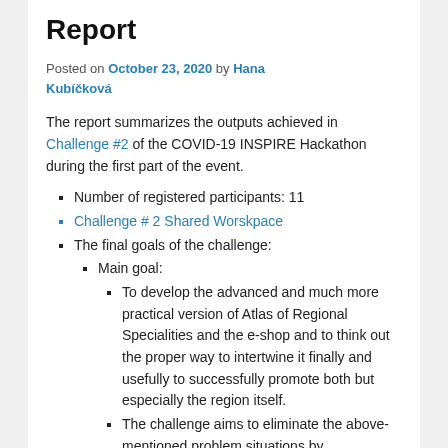Report
Posted on October 23, 2020 by Hana Kubíčková
The report summarizes the outputs achieved in Challenge #2 of the COVID-19 INSPIRE Hackathon during the first part of the event.
Number of registered participants: 11
Challenge # 2 Shared Worskpace
The final goals of the challenge:
Main goal:
To develop the advanced and much more practical version of Atlas of Regional Specialities and the e-shop and to think out the proper way to intertwine it finally and usefully to successfully promote both but especially the region itself.
The challenge aims to eliminate the above-mentioned problem situations by